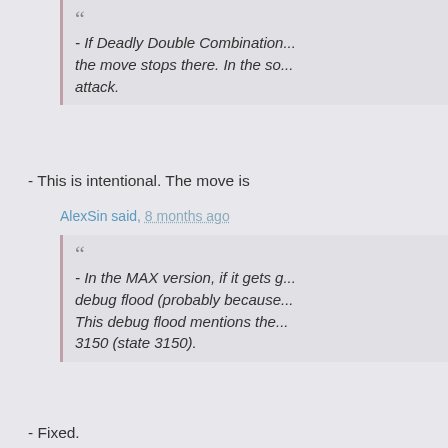- If Deadly Double Combination... the move stops there. In the so... attack.
- This is intentional. The move is
AlexSin said, 8 months ago
- In the MAX version, if it gets g... debug flood (probably because... This debug flood mentions the... 3150 (state 3150).
- Fixed.
AlexSin said, 8 months ago
- Crouching heavy punch shou... the idle position, you need to g...
- Fixed.
AlexSin said, 8 months ago